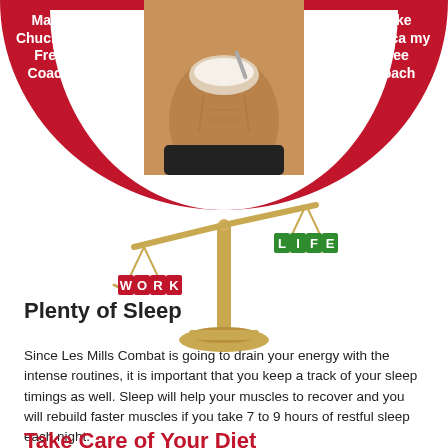Make Chuck My Free Coach
Make Monica my Free Coach
[Figure (photo): Muscular man mixing food in a bowl, shirtless, upper body visible]
[Figure (illustration): A golden balance scale with 'WORK' on the left pan (red letters) and 'LIFE' on the right pan (green letters)]
Plenty of Sleep
Since Les Mills Combat is going to drain your energy with the intense routines, it is important that you keep a track of your sleep timings as well. Sleep will help your muscles to recover and you will rebuild faster muscles if you take 7 to 9 hours of restful sleep each night.
Take Care of Your Diet